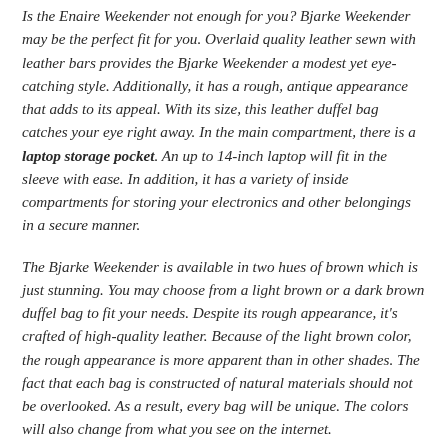Is the Enaire Weekender not enough for you? Bjarke Weekender may be the perfect fit for you. Overlaid quality leather sewn with leather bars provides the Bjarke Weekender a modest yet eye-catching style. Additionally, it has a rough, antique appearance that adds to its appeal. With its size, this leather duffel bag catches your eye right away. In the main compartment, there is a laptop storage pocket. An up to 14-inch laptop will fit in the sleeve with ease. In addition, it has a variety of inside compartments for storing your electronics and other belongings in a secure manner.
The Bjarke Weekender is available in two hues of brown which is just stunning. You may choose from a light brown or a dark brown duffel bag to fit your needs. Despite its rough appearance, it's crafted of high-quality leather. Because of the light brown color, the rough appearance is more apparent than in other shades. The fact that each bag is constructed of natural materials should not be overlooked. As a result, every bag will be unique. The colors will also change from what you see on the internet.